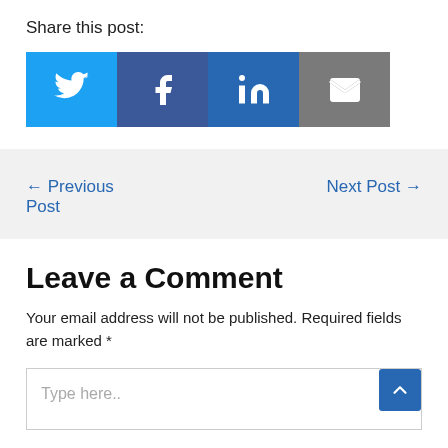Share this post:
[Figure (infographic): Four share buttons: Twitter (blue bird icon), Facebook (dark blue f icon), LinkedIn (blue in icon), Email (grey envelope icon)]
← Previous Post
Next Post →
Leave a Comment
Your email address will not be published. Required fields are marked *
Type here..